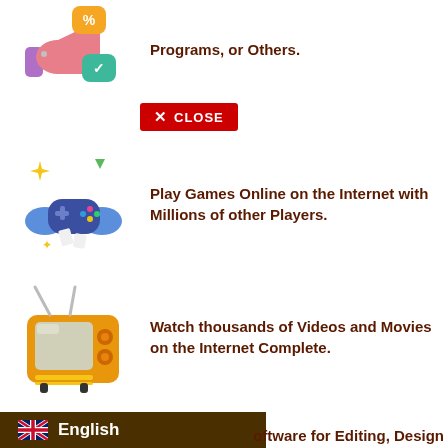[Figure (illustration): 3D megaphone with colorful speech bubbles showing percent and check icons]
Programs, or Others.
[Figure (illustration): Red close button with X icon]
[Figure (illustration): 3D hands holding a game controller with sparkles]
Play Games Online on the Internet with Millions of other Players.
[Figure (illustration): 3D orange retro television set]
Watch thousands of Videos and Movies on the Internet Complete.
[Figure (illustration): UK flag English language selector button]
oftware for Editing, Design